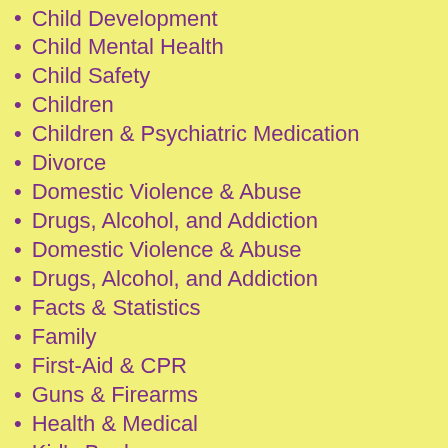Child Development
Child Mental Health
Child Safety
Children
Children & Psychiatric Medication
Divorce
Domestic Violence & Abuse
Drugs, Alcohol, and Addiction
Domestic Violence & Abuse
Drugs, Alcohol, and Addiction
Facts & Statistics
Family
First-Aid & CPR
Guns & Firearms
Health & Medical
Kid's Books
Media & Technology
Money & Finance
Parenting
Pregnancy
Teens
Weather & Natural Disasters